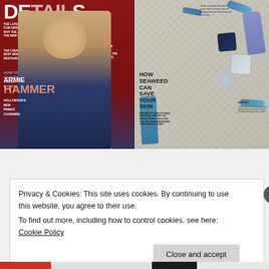[Figure (photo): Two magazine page images side by side: left shows Details magazine cover featuring Armie Hammer in a denim jacket against a red backdrop with various cover lines; right shows a magazine spread about seaweed skincare products laid out on fishing net background]
Privacy & Cookies: This site uses cookies. By continuing to use this website, you agree to their use.
To find out more, including how to control cookies, see here: Cookie Policy